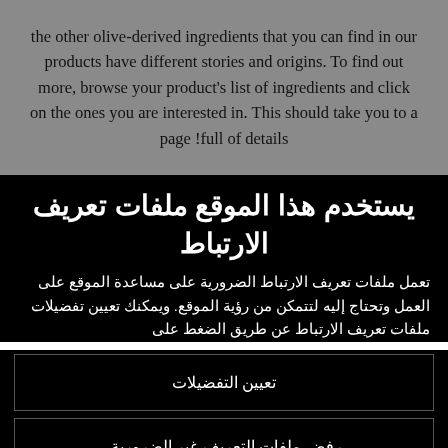the other olive-derived ingredients that you can find in our products have different stories and origins. To find out more, browse your product's list of ingredients and click on the ones you are interested in. This should take you to a page full of details!
يستخدم هذا الموقع ملفات تعريف الارتباط
تعمل ملفات تعريف الارتباط الضرورية على مساعدة الموقع على العمل وتحتاج إليه لتتمكن من رؤية الموقع. ويمكنك تعيين تفضيلات ملفات تعريف الارتباط عن طريق الضغط على
تعيين التفضيلات
رفض ملفات التعريف غير الضرورية.
قبول جميع ملفات تعريف الارتباط